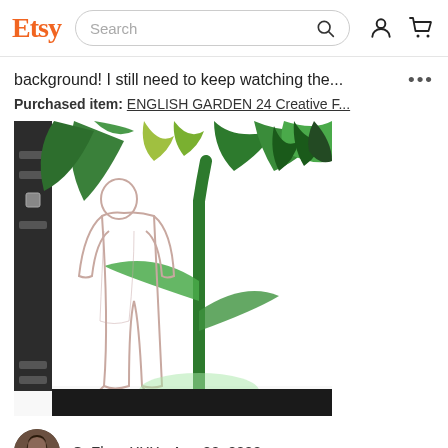Etsy Search
background! I still need to keep watching the...
Purchased item: ENGLISH GARDEN 24 Creative F...
[Figure (screenshot): Screenshot of a digital art application showing illustrated plant/garden background with large green tropical leaves and stems, a figure outline on the left, with a dark toolbar visible on the left edge and a dark bar at the bottom.]
CeZhen XXX  Aug 20, 2022
Helpful?
★★★★★